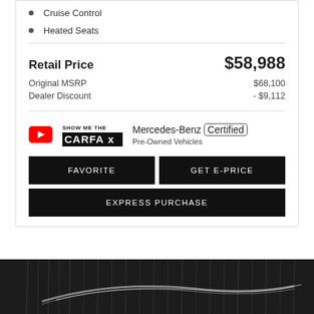Cruise Control
Heated Seats
Retail Price  $58,988
Original MSRP  $68,100
Dealer Discount  - $9,112
[Figure (logo): YouTube icon, Show Me The CARFAX logo, Mercedes-Benz Certified Pre-Owned Vehicles logo]
FAVORITE
GET E-PRICE
EXPRESS PURCHASE
[Figure (photo): Dark background photo showing chrome roof rails of a Mercedes-Benz vehicle]